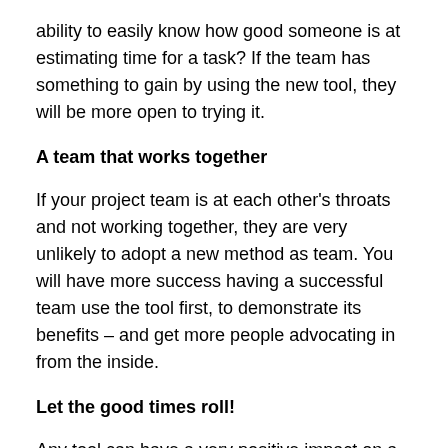ability to easily know how good someone is at estimating time for a task? If the team has something to gain by using the new tool, they will be more open to trying it.
A team that works together
If your project team is at each other's throats and not working together, they are very unlikely to adopt a new method as team. You will have more success having a successful team use the tool first, to demonstrate its benefits – and get more people advocating in from the inside.
Let the good times roll!
Any tool can have a very positive impact on a team. However, tools cannot perform magic. When a team is broken, no system or software can replace some good old people management. When a team works well together, a